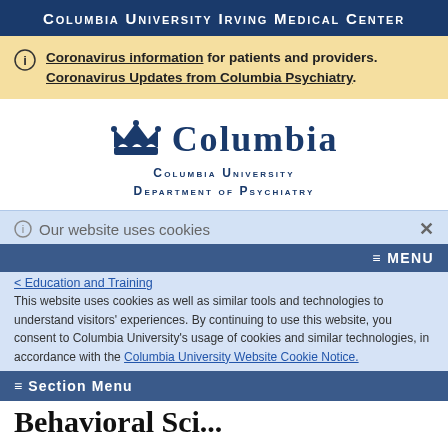Columbia University Irving Medical Center
Coronavirus information for patients and providers. Coronavirus Updates from Columbia Psychiatry.
[Figure (logo): Columbia University crown logo with wordmark 'Columbia' and subtitle 'Columbia University Department of Psychiatry']
Our website uses cookies
≡ MENU
This website uses cookies as well as similar tools and technologies to understand visitors' experiences. By continuing to use this website, you consent to Columbia University's usage of cookies and similar technologies, in accordance with the Columbia University Website Cookie Notice.
< Education and Training
≡ Section Menu
Behavioral Sci...